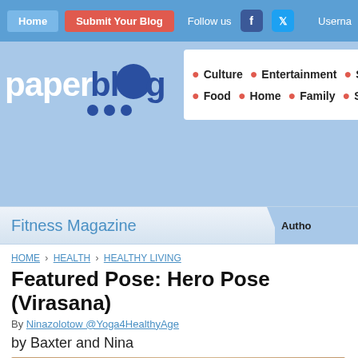Home | Submit Your Blog | Follow us | Username
[Figure (logo): paperblog logo with stylized text and dots]
Culture • Entertainment • So... • Food • Home • Family • S...
Fitness Magazine   Author
HOME › HEALTH › HEALTHY LIVING
Featured Pose: Hero Pose (Virasana)
By Ninazolotow @Yoga4HealthyAge
by Baxter and Nina
[Figure (photo): Photo of a person, partially visible at bottom of page]